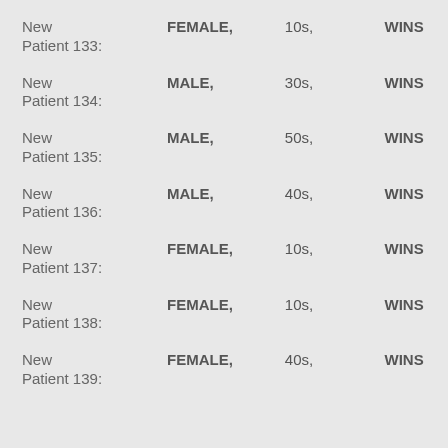New Patient 133: FEMALE, 10s, WINS
New Patient 134: MALE, 30s, WINS
New Patient 135: MALE, 50s, WINS
New Patient 136: MALE, 40s, WINS
New Patient 137: FEMALE, 10s, WINS
New Patient 138: FEMALE, 10s, WINS
New Patient 139: FEMALE, 40s, WINS